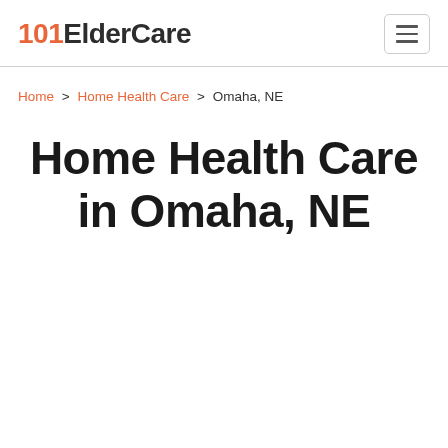101ElderCare
Home > Home Health Care > Omaha, NE
Home Health Care in Omaha, NE